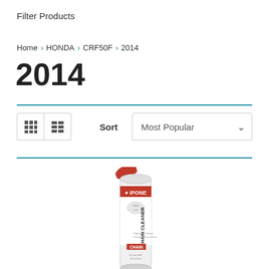Filter Products
Home > HONDA > CRF50F > 2014
2014
Sort  Most Popular
[Figure (photo): IPONE Chain Cleaner spray can with red nozzle cap, white and red label]